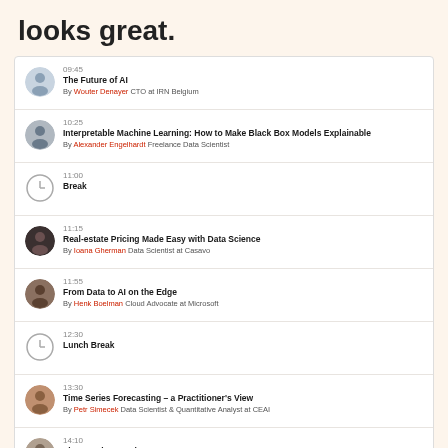looks great.
09:45 — The Future of AI — By Wouter Denayer CTO at IRN Belgium
10:25 — Interpretable Machine Learning: How to Make Black Box Models Explainable — By Alexander Engelhardt Freelance Data Scientist
11:00 — Break
11:15 — Real-estate Pricing Made Easy with Data Science — By Ioana Gherman Data Scientist at Casavo
11:55 — From Data to AI on the Edge — By Henk Boelman Cloud Advocate at Microsoft
12:30 — Lunch Break
13:30 — Time Series Forecasting – a Practitioner's View — By Petr Simecek Data Scientist & Quantitative Analyst at CEAI
14:10 — The Murphy's Project — By Virginie Mathiver Chief R&D Officer at Teamwork Si, PhD in AI
14:45